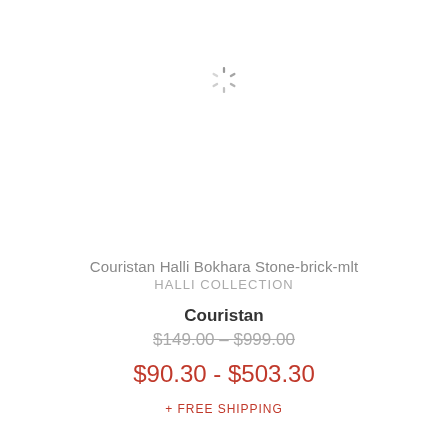[Figure (other): Loading spinner icon (circular dashed ring) centered near the top of the page]
Couristan Halli Bokhara Stone-brick-mlt
HALLI COLLECTION
Couristan
$149.00 – $999.00
$90.30 - $503.30
+ FREE SHIPPING